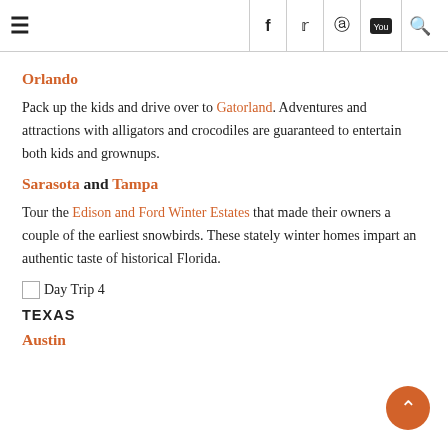≡  f  𝕥  𝗽  You  🔍
Orlando
Pack up the kids and drive over to Gatorland. Adventures and attractions with alligators and crocodiles are guaranteed to entertain both kids and grownups.
Sarasota and Tampa
Tour the Edison and Ford Winter Estates that made their owners a couple of the earliest snowbirds. These stately winter homes impart an authentic taste of historical Florida.
[Figure (illustration): Day Trip 4 image placeholder with broken image icon]
TEXAS
Austin